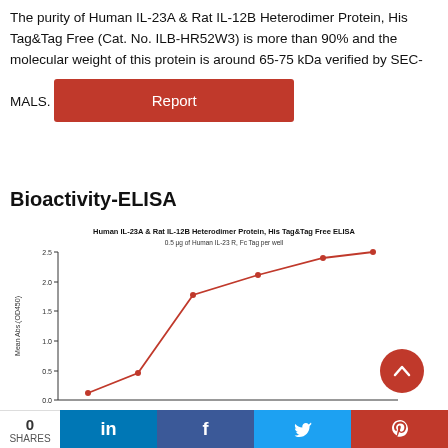The purity of Human IL-23A & Rat IL-12B Heterodimer Protein, His Tag&Tag Free (Cat. No. ILB-HR52W3) is more than 90% and the molecular weight of this protein is around 65-75 kDa verified by SEC-MALS.
[Figure (other): Red button labeled 'Report']
Bioactivity-ELISA
[Figure (line-chart): Sigmoidal binding curve showing ELISA absorbance (OD450) vs concentration, with data points at approximately 0.12, 0.45, 1.78, 2.12, 2.40, 2.50]
0 SHARES  in  f  twitter  pinterest